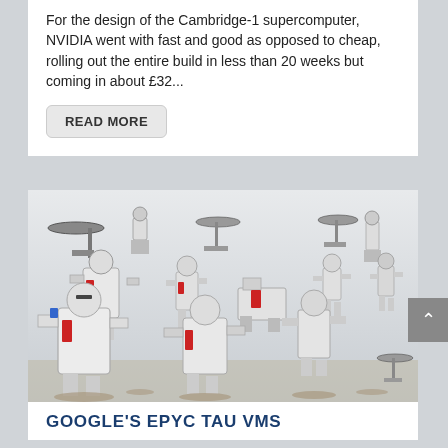For the design of the Cambridge-1 supercomputer, NVIDIA went with fast and good as opposed to cheap, rolling out the entire build in less than 20 weeks but coming in about £32...
READ MORE
[Figure (photo): Collection of white and red wargaming miniature robots and figures (Tau-style sci-fi miniatures) arranged in a group photo on a white background]
GOOGLE'S EPYC TAU VMS